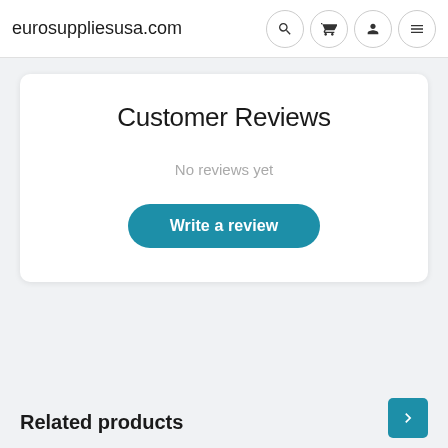eurosuppliesusa.com
Customer Reviews
No reviews yet
Write a review
Related products